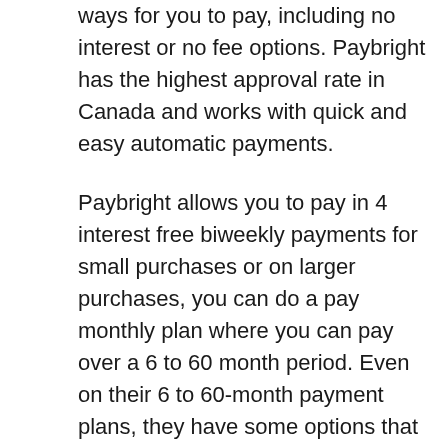ways for you to pay, including no interest or no fee options. Paybright has the highest approval rate in Canada and works with quick and easy automatic payments.
Paybright allows you to pay in 4 interest free biweekly payments for small purchases or on larger purchases, you can do a pay monthly plan where you can pay over a 6 to 60 month period. Even on their 6 to 60-month payment plans, they have some options that allow 0% interest. So, this method is definitely worth checking out if it's offered in your area. If not,
Klarna
Klarna is similar to Paybright but not just for